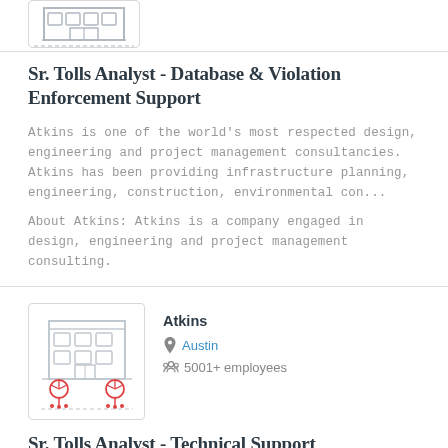[Figure (illustration): Partial company logo illustration showing bottom portion of a building icon]
Sr. Tolls Analyst - Database & Violation Enforcement Support
Atkins is one of the world's most respected design, engineering and project management consultancies. Atkins has been providing infrastructure planning, engineering, construction, environmental con...
About Atkins: Atkins is a company engaged in design, engineering and project management consulting.
[Figure (illustration): Company logo illustration showing a building with trees/plants at the base]
Atkins
Austin
5001+ employees
Sr. Tolls Analyst - Technical Support
Atkins is one of the world's most respected design, engineering and project management consultancies. Atkins has been providing